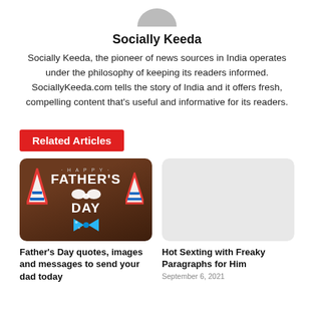[Figure (illustration): Partially visible circular avatar/profile image at top center]
Socially Keeda
Socially Keeda, the pioneer of news sources in India operates under the philosophy of keeping its readers informed. SociallyKeeda.com tells the story of India and it offers fresh, compelling content that’s useful and informative for its readers.
Related Articles
[Figure (photo): Father's Day promotional image with dark wood background, party hats, bow tie, and text reading HAPPY FATHER'S DAY with mustache graphic]
[Figure (photo): Light gray placeholder thumbnail image for second article]
Father’s Day quotes, images and messages to send your dad today
Hot Sexting with Freaky Paragraphs for Him
September 6, 2021